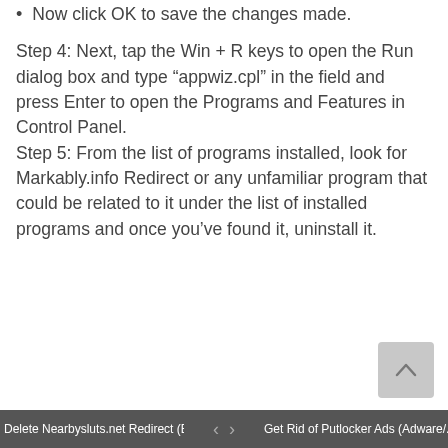Now click OK to save the changes made.
Step 4: Next, tap the Win + R keys to open the Run dialog box and type “appwiz.cpl” in the field and press Enter to open the Programs and Features in Control Panel.
Step 5: From the list of programs installed, look for Markably.info Redirect or any unfamiliar program that could be related to it under the list of installed programs and once you’ve found it, uninstall it.
Delete Nearbysluts.net Redirect (B... ‹ › Get Rid of Putlocker Ads (Adware/...